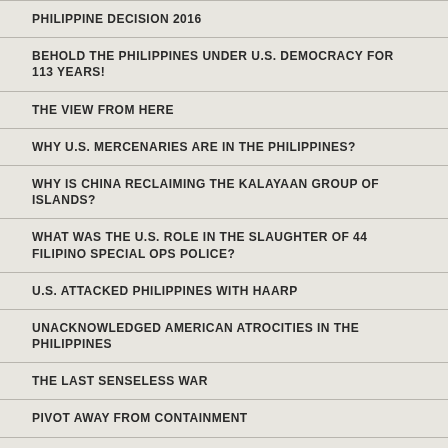PHILIPPINE DECISION 2016
BEHOLD THE PHILIPPINES UNDER U.S. DEMOCRACY FOR 113 YEARS!
THE VIEW FROM HERE
WHY U.S. MERCENARIES ARE IN THE PHILIPPINES?
WHY IS CHINA RECLAIMING THE KALAYAAN GROUP OF ISLANDS?
WHAT WAS THE U.S. ROLE IN THE SLAUGHTER OF 44 FILIPINO SPECIAL OPS POLICE?
U.S. ATTACKED PHILIPPINES WITH HAARP
UNACKNOWLEDGED AMERICAN ATROCITIES IN THE PHILIPPINES
THE LAST SENSELESS WAR
PIVOT AWAY FROM CONTAINMENT
HAS OBAMA LOST CONTROL OF THE PHILIPPINES?
US PAYS OUT 'PEANUTS' FOR ECO-CRIME COMMITTED IN PHILIPPINES